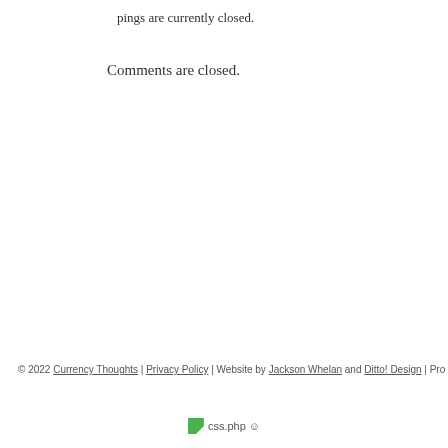pings are currently closed.
Comments are closed.
© 2022 Currency Thoughts | Privacy Policy | Website by Jackson Whelan and Ditto! Design | Pro
[Figure (other): Small green CSS icon followed by css.php text and a smiley face emoji]